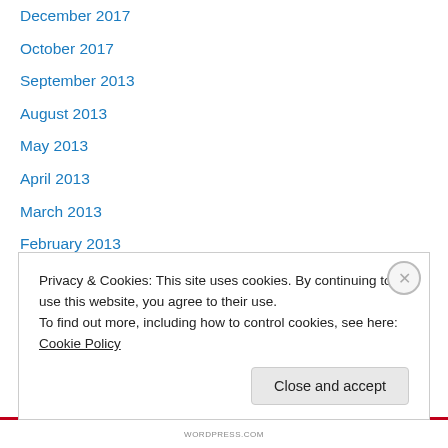December 2017
October 2017
September 2013
August 2013
May 2013
April 2013
March 2013
February 2013
January 2013
December 2012
November 2012
October 2012
September 2012
August 2012
Privacy & Cookies: This site uses cookies. By continuing to use this website, you agree to their use. To find out more, including how to control cookies, see here: Cookie Policy
WORDPRESS.COM